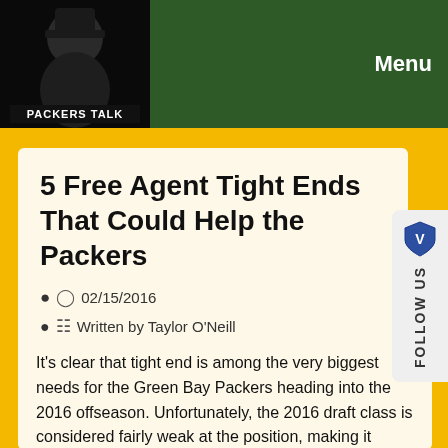PACKERS TALK
Menu
5 Free Agent Tight Ends That Could Help the Packers
02/15/2016
Written by Taylor O'Neill
It's clear that tight end is among the very biggest needs for the Green Bay Packers heading into the 2016 offseason. Unfortunately, the 2016 draft class is considered fairly weak at the position, making it unlikely that the Packers will be able to draft an instant receiving threat. While Richard Rodgers has been a nice red zone target, the Packers need big improvements essentially at the position.